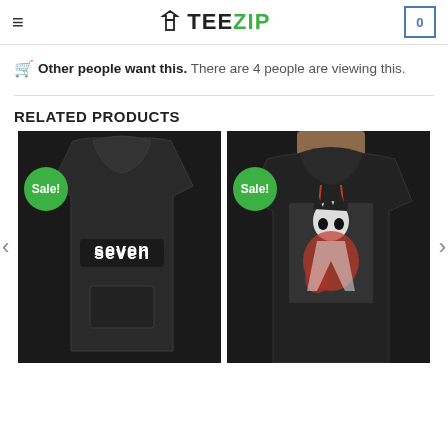TEEZIP
🛒 Other people want this. There are 4 people are viewing this.
RELATED PRODUCTS
[Figure (photo): Black hoodie with 'seven' logo text on the front, displayed on a model. Green 'Sale!' badge in upper left corner.]
[Figure (photo): Black hoodie with anime graphic print on the front, worn by a model. Green 'Sale!' badge in upper left corner.]